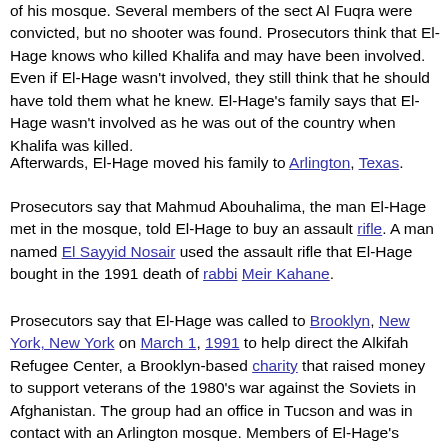Several weeks later, Khalifa was discovered murdered in the kitchen of his mosque. Several members of the sect Al Fuqra were convicted, but no shooter was found. Prosecutors think that El-Hage knows who killed Khalifa and may have been involved. Even if El-Hage wasn't involved, they still think that he should have told them what he knew. El-Hage's family says that El-Hage wasn't involved as he was out of the country when Khalifa was killed.
Afterwards, El-Hage moved his family to Arlington, Texas.
Prosecutors say that Mahmud Abouhalima, the man El-Hage met in the mosque, told El-Hage to buy an assault rifle. A man named El Sayyid Nosair used the assault rifle that El-Hage bought in the 1991 death of rabbi Meir Kahane.
Prosecutors say that El-Hage was called to Brooklyn, New York, New York on March 1, 1991 to help direct the Alkifah Refugee Center, a Brooklyn-based charity that raised money to support veterans of the 1980's war against the Soviets in Afghanistan. The group had an office in Tucson and was in contact with an Arlington mosque. Members of El-Hage's family say that he was in contact with the group, and say that he was called in as a mediator.
The leader of the group, Mustafa Shalabi, disappeared on the day El-Hage arrived in New York, New York. One week later, his mutilated body was found in an apartment that he shared with